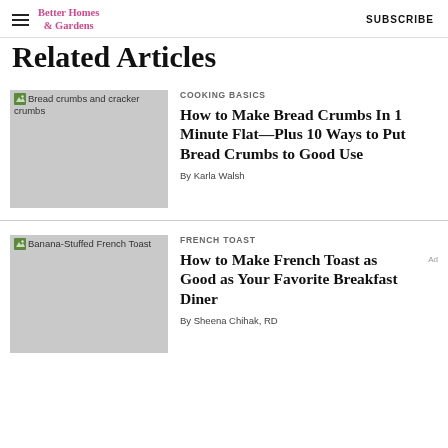Better Homes & Gardens  SUBSCRIBE
Related Articles
[Figure (photo): Bread crumbs and cracker crumbs image placeholder]
COOKING BASICS
How to Make Bread Crumbs In 1 Minute Flat—Plus 10 Ways to Put Bread Crumbs to Good Use
By Karla Walsh
[Figure (photo): Banana-Stuffed French Toast image placeholder]
FRENCH TOAST
How to Make French Toast as Good as Your Favorite Breakfast Diner
By Sheena Chihak, RD